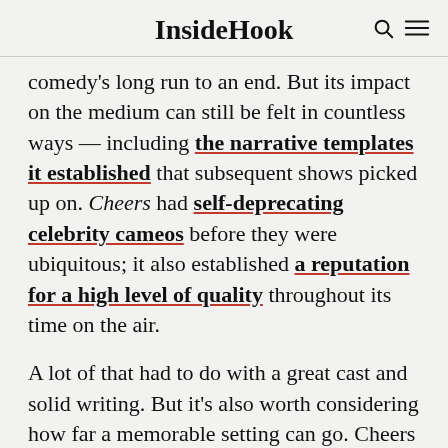InsideHook
comedy's long run to an end. But its impact on the medium can still be felt in countless ways — including the narrative templates it established that subsequent shows picked up on. Cheers had self-deprecating celebrity cameos before they were ubiquitous; it also established a reputation for a high level of quality throughout its time on the air.
A lot of that had to do with a great cast and solid writing. But it's also worth considering how far a memorable setting can go. Cheers —